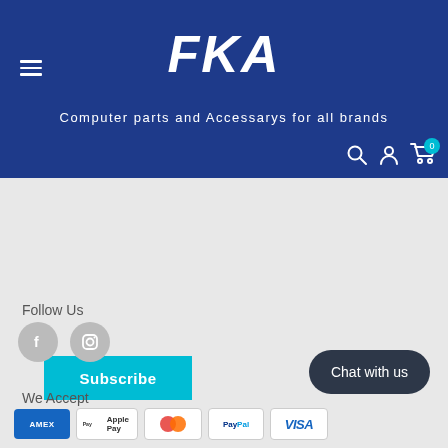[Figure (logo): FKA store logo — white bold italic text on dark blue header background]
Computer parts and Accessarys for all brands
Subscribe
Follow Us
[Figure (illustration): Facebook and Instagram social media circular icon buttons in grey]
Chat with us
We Accept
[Figure (illustration): Payment method logos: American Express, Apple Pay, Mastercard, PayPal, Visa]